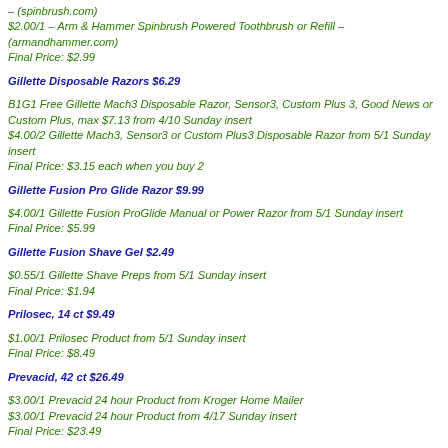– (spinbrush.com)
$2.00/1 – Arm & Hammer Spinbrush Powered Toothbrush or Refill – (armandhammer.com)
Final Price: $2.99
Gillette Disposable Razors $6.29
B1G1 Free Gillette Mach3 Disposable Razor, Sensor3, Custom Plus 3, Good News or Custom Plus, max $7.13 from 4/10 Sunday insert
$4.00/2 Gillette Mach3, Sensor3 or Custom Plus3 Disposable Razor from 5/1 Sunday insert
Final Price:  $3.15 each when you buy 2
Gillette Fusion Pro Glide Razor $9.99
$4.00/1 Gillette Fusion ProGlide Manual or Power Razor from 5/1 Sunday insert
Final Price: $5.99
Gillette Fusion Shave Gel $2.49
$0.55/1 Gillette Shave Preps from 5/1 Sunday insert
Final Price: $1.94
Prilosec, 14 ct $9.49
$1.00/1 Prilosec Product from 5/1 Sunday insert
Final Price: $8.49
Prevacid, 42 ct $26.49
$3.00/1 Prevacid 24 hour Product from Kroger Home Mailer
$3.00/1 Prevacid 24 hour Product from 4/17 Sunday insert
Final Price: $23.49
Other Deals
Kroger Cheese, chunk Sliced or Shredded, 6-8 oz $1.79